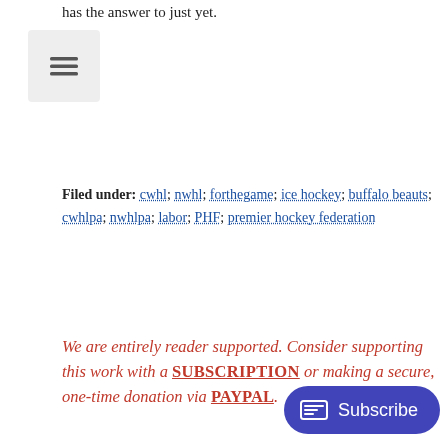has the answer to just yet.
[Figure (other): Hamburger menu icon button with three horizontal lines on a light gray background]
Filed under: cwhl; nwhl; forthegame; ice hockey; buffalo beauts; cwhlpa; nwhlpa; labor; PHF; premier hockey federation
We are entirely reader supported. Consider supporting this work with a SUBSCRIPTION or making a secure, one-time donation via PAYPAL.
AUTHOR
Melissa Burgess
30. Lover of all things h... writing!
[Figure (other): Subscribe button with newsletter icon, dark blue/purple rounded rectangle]
[Figure (photo): Circular profile photo of Melissa Burgess, a young woman with glasses and brown hair, smiling]